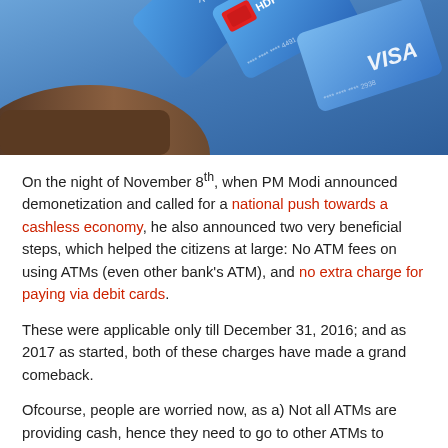[Figure (photo): A hand holding multiple blue credit/debit cards including HDFC and VISA cards]
On the night of November 8th, when PM Modi announced demonetization and called for a national push towards a cashless economy, he also announced two very beneficial steps, which helped the citizens at large: No ATM fees on using ATMs (even other bank's ATM), and no extra charge for paying via debit cards.
These were applicable only till December 31, 2016; and as 2017 as started, both of these charges have made a grand comeback.
Ofcourse, people are worried now, as a) Not all ATMs are providing cash, hence they need to go to other ATMs to withdraw cash and b) why are they being forced to pay extra for transacting via cashless mode?